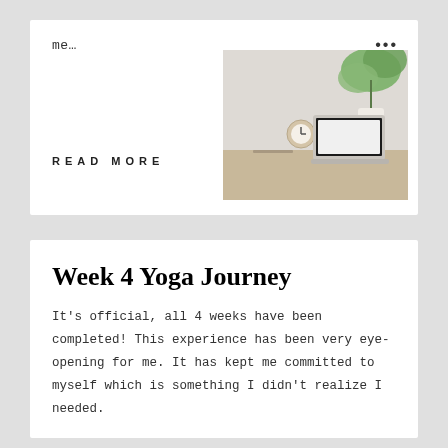me…
•••
READ MORE
[Figure (photo): A minimalist desk scene with a laptop, clock, and green monstera plant on a light wooden surface]
Week 4 Yoga Journey
It's official, all 4 weeks have been completed! This experience has been very eye-opening for me. It has kept me committed to myself which is something I didn't realize I needed.